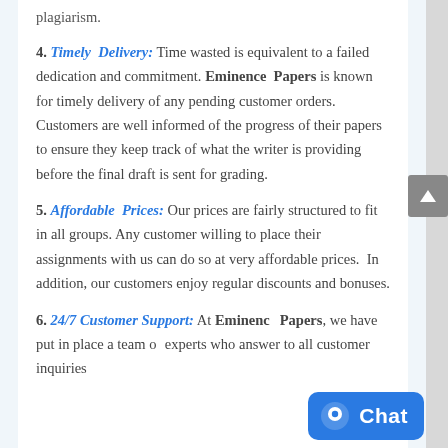plagiarism.
4. Timely Delivery: Time wasted is equivalent to a failed dedication and commitment. Eminence Papers is known for timely delivery of any pending customer orders. Customers are well informed of the progress of their papers to ensure they keep track of what the writer is providing before the final draft is sent for grading.
5. Affordable Prices: Our prices are fairly structured to fit in all groups. Any customer willing to place their assignments with us can do so at very affordable prices.  In addition, our customers enjoy regular discounts and bonuses.
6. 24/7 Customer Support: At Eminence Papers, we have put in place a team of experts who answer to all customer inquiries